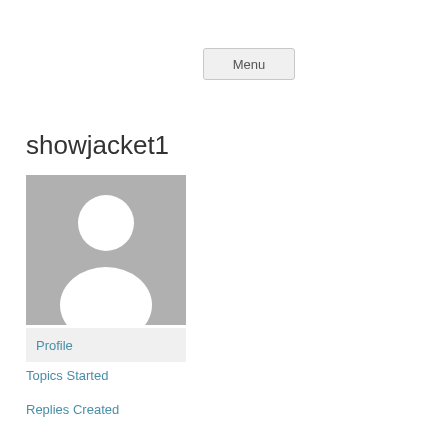Menu
showjacket1
[Figure (illustration): Default user avatar placeholder: grey square background with white silhouette of a person (head circle and shoulders arc)]
Profile
Topics Started
Replies Created